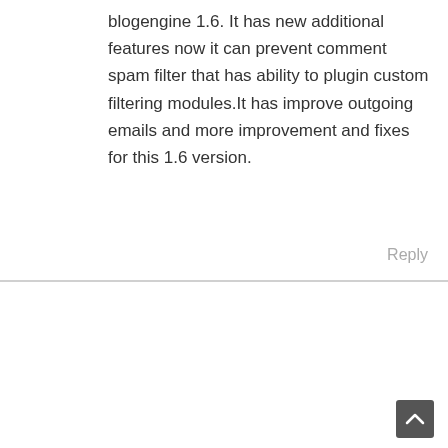blogengine 1.6. It has new additional features now it can prevent comment spam filter that has ability to plugin custom filtering modules.It has improve outgoing emails and more improvement and fixes for this 1.6 version.
Reply
>L< says:
February 8, 2010 at 11:55 am
>>another version has been release this year blogengine 1.6.

Yes, this is true. And that's the version I upgraded to. There's a tooltip on the "Powered